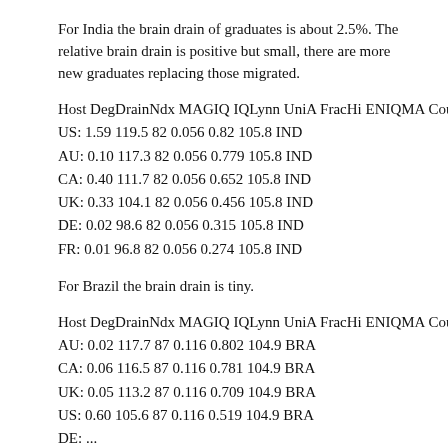For India the brain drain of graduates is about 2.5%. The relative brain drain is positive but small, there are more new graduates replacing those migrated.
| Host | DegDrainNdx | MAGIQ | IQLynn | UniA | FracHi | ENIQMA | Country |
| --- | --- | --- | --- | --- | --- | --- | --- |
| US: | 1.59 | 119.5 | 82 | 0.056 | 0.82 | 105.8 | IND |
| AU: | 0.10 | 117.3 | 82 | 0.056 | 0.779 | 105.8 | IND |
| CA: | 0.40 | 111.7 | 82 | 0.056 | 0.652 | 105.8 | IND |
| UK: | 0.33 | 104.1 | 82 | 0.056 | 0.456 | 105.8 | IND |
| DE: | 0.02 | 98.6 | 82 | 0.056 | 0.315 | 105.8 | IND |
| FR: | 0.01 | 96.8 | 82 | 0.056 | 0.274 | 105.8 | IND |
For Brazil the brain drain is tiny.
| Host | DegDrainNdx | MAGIQ | IQLynn | UniA | FracHi | ENIQMA | Country |
| --- | --- | --- | --- | --- | --- | --- | --- |
| AU: | 0.02 | 117.7 | 87 | 0.116 | 0.802 | 104.9 | BRA |
| CA: | 0.06 | 116.5 | 87 | 0.116 | 0.781 | 104.9 | BRA |
| UK: | 0.05 | 113.2 | 87 | 0.116 | 0.709 | 104.9 | BRA |
| US: | 0.60 | 105.6 | 87 | 0.116 | 0.519 | 104.9 | BRA |
| DE: | ... | ... | ... | ... | ... | ... | BRA |